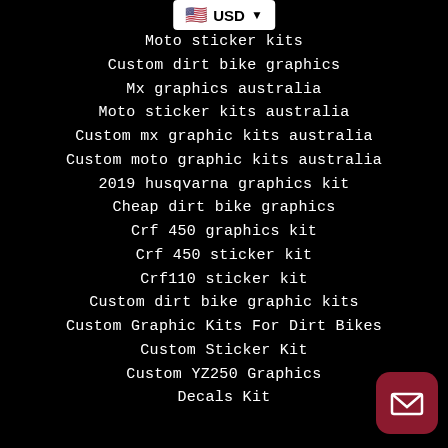Moto sticker kits
Custom dirt bike graphics
Mx graphics australia
Moto sticker kits australia
Custom mx graphic kits australia
Custom moto graphic kits australia
2019 husqvarna graphics kit
Cheap dirt bike graphics
Crf 450 graphics kit
Crf 450 sticker kit
Crf110 sticker kit
Custom dirt bike graphic kits
Custom Graphic Kits For Dirt Bikes
Custom Sticker Kit
Custom YZ250 Graphics
Decals Kit